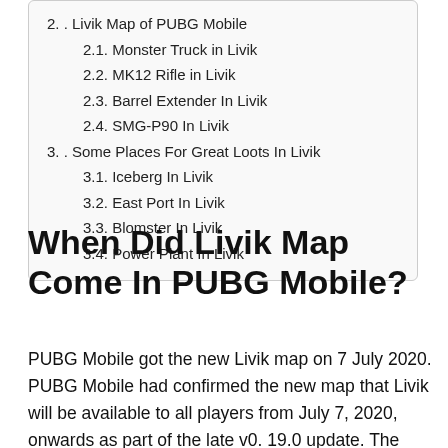2. . Livik Map of PUBG Mobile
2.1. Monster Truck in Livik
2.2. MK12 Rifle in Livik
2.3. Barrel Extender In Livik
2.4. SMG-P90 In Livik
3. . Some Places For Great Loots In Livik
3.1. Iceberg In Livik
3.2. East Port In Livik
3.3. Blomster In Livik
3.4. Power Plant In Livik
When Did Livik Map Come In PUBG Mobile?
PUBG Mobile got the new Livik map on 7 July 2020. PUBG Mobile had confirmed the new map that Livik will be available to all players from July 7, 2020, onwards as part of the late v0. 19.0 update. The Livik map is the game's